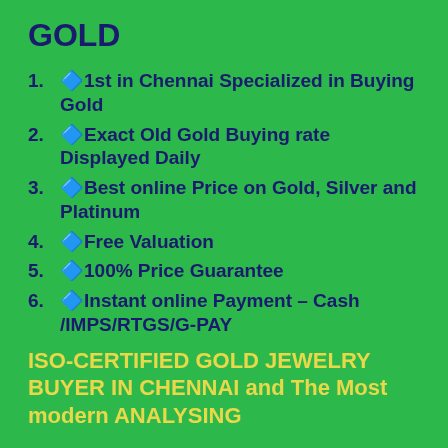GOLD
🔷1st in Chennai Specialized in Buying Gold
🔷Exact Old Gold Buying rate Displayed Daily
🔷Best online Price on Gold, Silver and Platinum
🔷Free Valuation
🔷100% Price Guarantee
🔷Instant online Payment – Cash /IMPS/RTGS/G-PAY
ISO-CERTIFIED GOLD JEWELRY BUYER IN CHENNAI and The Most modern ANALYSING